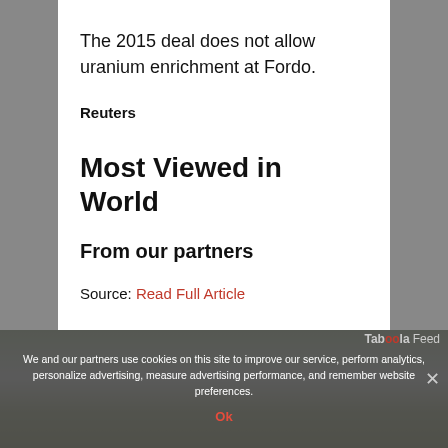The 2015 deal does not allow uranium enrichment at Fordo.
Reuters
Most Viewed in World
From our partners
Source: Read Full Article
We and our partners use cookies on this site to improve our service, perform analytics, personalize advertising, measure advertising performance, and remember website preferences.
Ok